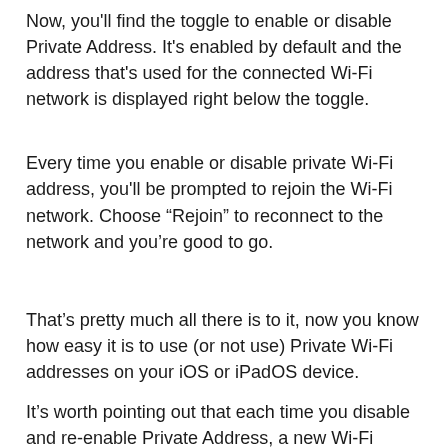Now, you'll find the toggle to enable or disable Private Address. It's enabled by default and the address that's used for the connected Wi-Fi network is displayed right below the toggle.
Every time you enable or disable private Wi-Fi address, you'll be prompted to rejoin the Wi-Fi network. Choose “Rejoin” to reconnect to the network and you’re good to go.
That’s pretty much all there is to it, now you know how easy it is to use (or not use) Private Wi-Fi addresses on your iOS or iPadOS device.
It’s worth pointing out that each time you disable and re-enable Private Address, a new Wi-Fi address will be used with the network. This is why you’re prompted to reconnect to the